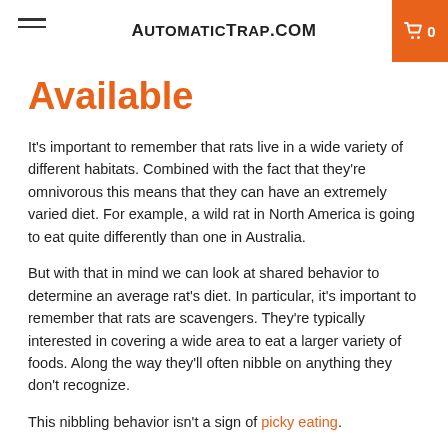AutomaticTrap.com
Available
It's important to remember that rats live in a wide variety of different habitats. Combined with the fact that they're omnivorous this means that they can have an extremely varied diet. For example, a wild rat in North America is going to eat quite differently than one in Australia.
But with that in mind we can look at shared behavior to determine an average rat's diet. In particular, it's important to remember that rats are scavengers. They're typically interested in covering a wide area to eat a larger variety of foods. Along the way they'll often nibble on anything they don't recognize.
This nibbling behavior isn't a sign of picky eating.